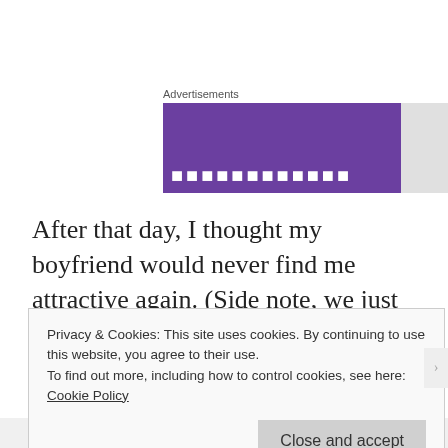[Figure (other): Advertisement banner with purple background and gray section. Shows 'Advertisements' label above.]
After that day, I thought my boyfriend would never find me attractive again. (Side note, we just celebrated our sixth anniversary).
I almost never wanted to run a half marathon again.
Privacy & Cookies: This site uses cookies. By continuing to use this website, you agree to their use.
To find out more, including how to control cookies, see here:
Cookie Policy
Close and accept
Follow ...